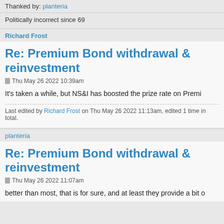Thanked by: planteria
Politically incorrect since 69
Richard Frost
Re: Premium Bond withdrawal & reinvestment
Thu May 26 2022 10:39am
It's taken a while, but NS&I has boosted the prize rate on Premi
Last edited by Richard Frost on Thu May 26 2022 11:13am, edited 1 time in total.
planteria
Re: Premium Bond withdrawal & reinvestment
Thu May 26 2022 11:07am
better than most, that is for sure, and at least they provide a bit o